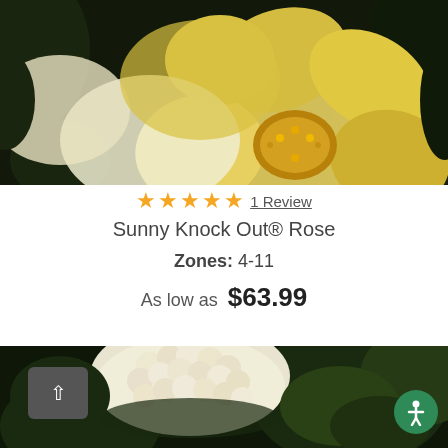[Figure (photo): Close-up photo of yellow Sunny Knock Out rose flowers with golden stamens against dark foliage background]
★★★★★ 1 Review
Sunny Knock Out® Rose
Zones: 4-11
As low as $63.99
[Figure (photo): Close-up photo of a white/cream flower cluster (possibly Spiraea or similar shrub) with dark green leaves in background]